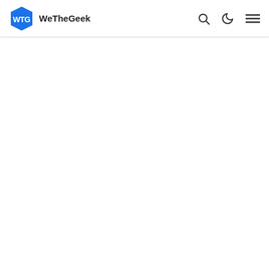WeTheGeek
[Figure (other): Blank white content area below the navigation bar]